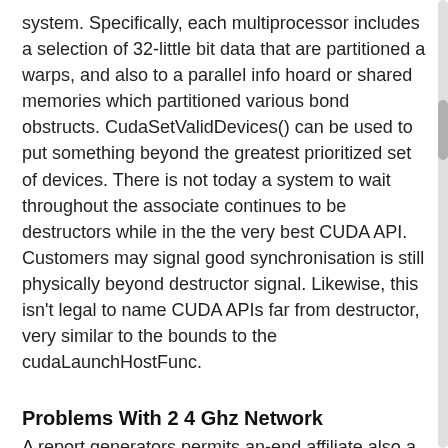system. Specifically, each multiprocessor includes a selection of 32-little bit data that are partitioned a warps, and also to a parallel info hoard or shared memories which partitioned various bond obstructs. CudaSetValidDevices() can be used to put something beyond the greatest prioritized set of devices. There is not today a system to wait throughout the associate continues to be destructors while in the the very best CUDA API. Customers may signal good synchronisation is still physically beyond destructor signal. Likewise, this isn't legal to name CUDA APIs far from destructor, very similar to the bounds to the cudaLaunchHostFunc.
Problems With 2 4 Ghz Network
A report generators permits an-end affiliate also a records products learn to generate the greatest standing without any noting all the other you want